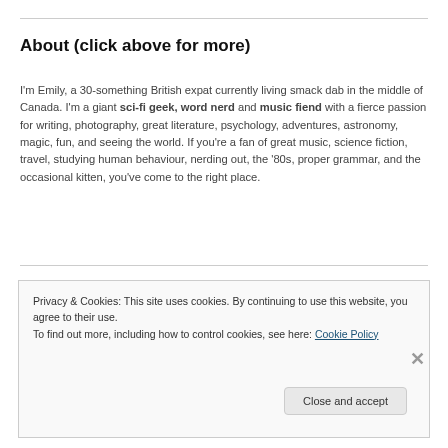About (click above for more)
I'm Emily, a 30-something British expat currently living smack dab in the middle of Canada. I'm a giant sci-fi geek, word nerd and music fiend with a fierce passion for writing, photography, great literature, psychology, adventures, astronomy, magic, fun, and seeing the world. If you're a fan of great music, science fiction, travel, studying human behaviour, nerding out, the '80s, proper grammar, and the occasional kitten, you've come to the right place.
Privacy & Cookies: This site uses cookies. By continuing to use this website, you agree to their use.
To find out more, including how to control cookies, see here: Cookie Policy